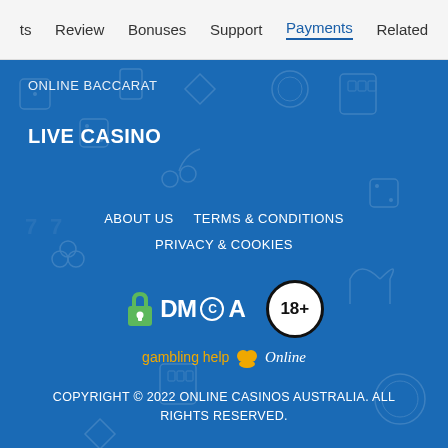ts   Review   Bonuses   Support   Payments   Related
ONLINE BACCARAT
LIVE CASINO
ABOUT US   TERMS & CONDITIONS   PRIVACY & COOKIES
[Figure (logo): DMCA logo with green padlock icon and 18+ age restriction badge, plus Gambling Help Online logo]
gambling help Online
COPYRIGHT © 2022 ONLINE CASINOS AUSTRALIA. ALL RIGHTS RESERVED.